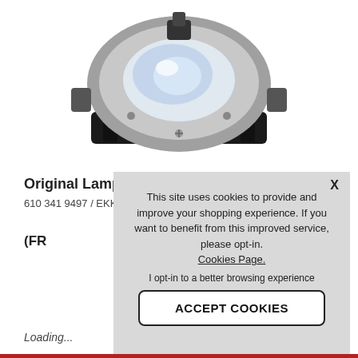[Figure (photo): Projector replacement lamp with housing, silver and black metallic finish, viewed from above at an angle.]
Original Lamp
610 341 9497 / EKKV-1
(FR
This site uses cookies to provide and improve your shopping experience. If you want to benefit from this improved service, please opt-in. Cookies Page. I opt-in to a better browsing experience
ACCEPT COOKIES
Loading...